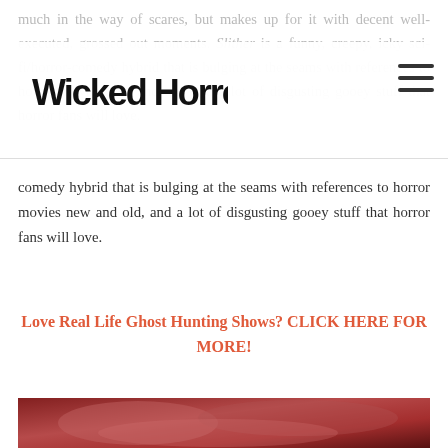Wicked Horror
much in the way of scares, but makes up for it with decent ... well-executed, grossed-out moments. Slither is a funny, creepy, icky sci-fi/horror-comedy hybrid that is bulging at the seams with references to horror movies new and old, and a lot of disgusting gooey stuff that horror fans will love.
Love Real Life Ghost Hunting Shows? CLICK HERE FOR MORE!
[Figure (photo): Close-up of a grotesque horror movie practical effect showing a severely mutated or parasitized face with exposed, glistening pink flesh and visible eyes]